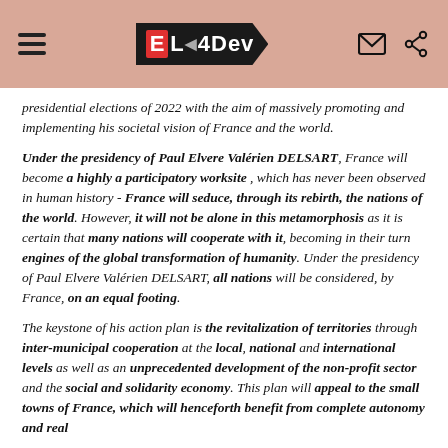EL4Dev
presidential elections of 2022 with the aim of massively promoting and implementing his societal vision of France and the world.
Under the presidency of Paul Elvere Valérien DELSART, France will become a highly a participatory worksite , which has never been observed in human history - France will seduce, through its rebirth, the nations of the world. However, it will not be alone in this metamorphosis as it is certain that many nations will cooperate with it, becoming in their turn engines of the global transformation of humanity. Under the presidency of Paul Elvere Valérien DELSART, all nations will be considered, by France, on an equal footing.
The keystone of his action plan is the revitalization of territories through inter-municipal cooperation at the local, national and international levels as well as an unprecedented development of the non-profit sector and the social and solidarity economy. This plan will appeal to the small towns of France, which will henceforth benefit from complete autonomy and real